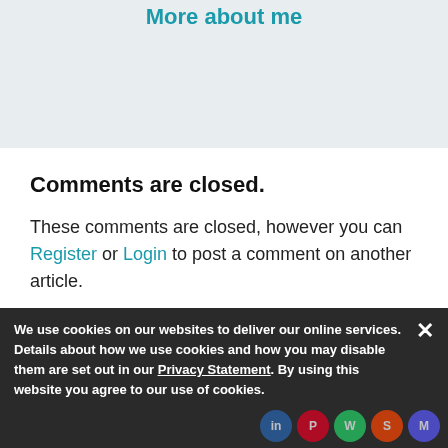More about me
Comments are closed.
These comments are closed, however you can Register or Login to post a comment on another article.
Related Content
We use cookies on our websites to deliver our online services. Details about how we use cookies and how you may disable them are set out in our Privacy Statement. By using this website you agree to our use of cookies.